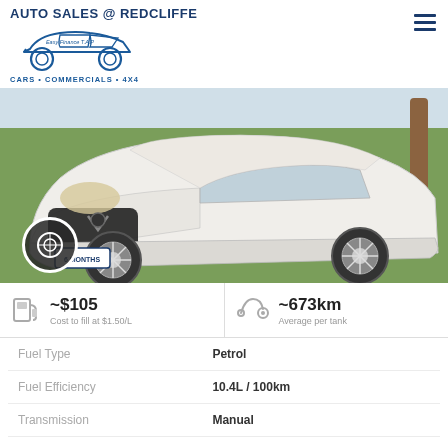AUTO SALES @ REDCLIFFE — CARS • COMMERCIALS • 4X4
[Figure (photo): White SUV (Great Wall Motors) photographed from front-left angle, parked on grass with trees in background. A spare tyre cover icon is visible in lower-left corner of photo.]
~$105 Cost to fill at $1.50/L
~673km Average per tank
|  |  |
| --- | --- |
| Fuel Type | Petrol |
| Fuel Efficiency | 10.4L / 100km |
| Transmission | Manual |
| Odometer | 56,000 kms |